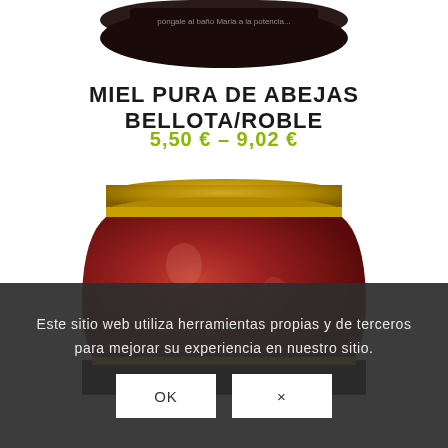[Figure (photo): Top portion of a dark honey jar with golden lid, partially cropped at top of page]
MIEL PURA DE ABEJAS BELLOTA/ROBLE
5,50 € – 9,02 €
[Figure (photo): Glass jar of pure bee honey (Bellota/Roble variety) with golden lid and dark amber honey visible, honeycomb pattern on jar]
Este sitio web utiliza herramientas propias y de terceros para mejorar su experiencia en nuestro sitio.
OK
×